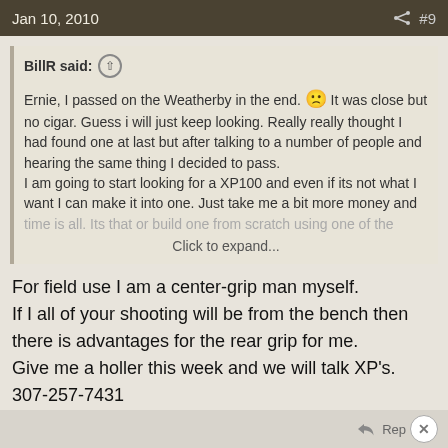Jan 10, 2010  #9
BillR said:
Ernie, I passed on the Weatherby in the end. 🙁 It was close but no cigar. Guess i will just keep looking. Really really thought I had found one at last but after talking to a number of people and hearing the same thing I decided to pass.
I am going to start looking for a XP100 and even if its not what I want I can make it into one. Just take me a bit more money and time is all. Its that or build one from scratch using one of the
Click to expand...
For field use I am a center-grip man myself.
If I all of your shooting will be from the bench then there is advantages for the rear grip for me.
Give me a holler this week and we will talk XP's.
307-257-7431